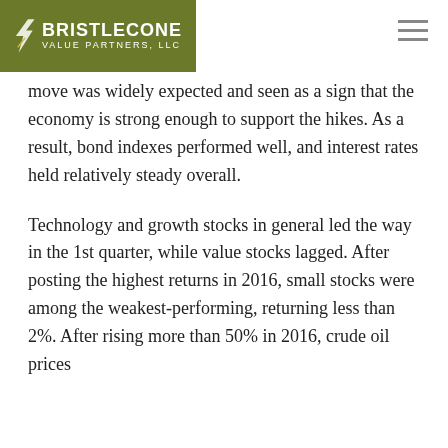Bristlecone Value Partners, LLC
move was widely expected and seen as a sign that the economy is strong enough to support the hikes. As a result, bond indexes performed well, and interest rates held relatively steady overall.
Technology and growth stocks in general led the way in the 1st quarter, while value stocks lagged. After posting the highest returns in 2016, small stocks were among the weakest-performing, returning less than 2%. After rising more than 50% in 2016, crude oil prices